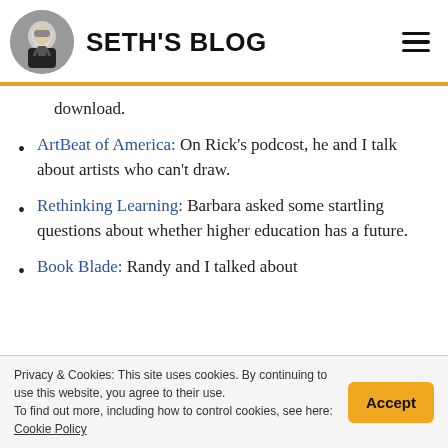SETH'S BLOG
download.
ArtBeat of America: On Rick's podcost, he and I talk about artists who can't draw.
Rethinking Learning: Barbara asked some startling questions about whether higher education has a future.
Book Blade: Randy and I talked about
Privacy & Cookies: This site uses cookies. By continuing to use this website, you agree to their use. To find out more, including how to control cookies, see here: Cookie Policy